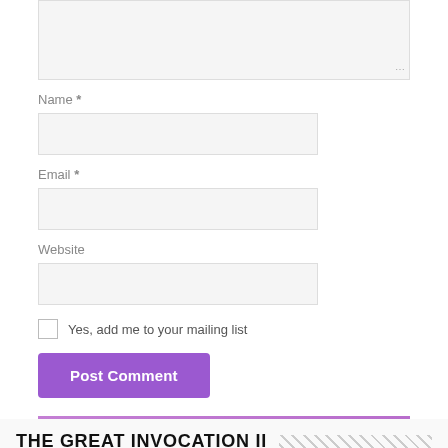[Figure (screenshot): Comment text area input box (partially visible at top)]
Name *
[Figure (screenshot): Name text input field]
Email *
[Figure (screenshot): Email text input field]
Website
[Figure (screenshot): Website text input field]
Yes, add me to your mailing list
Post Comment
THE GREAT INVOCATION II
[Figure (screenshot): YouTube video thumbnail for 'Great Invocation II 2022' showing blue gradient background with channel avatar, Watch later and Share buttons visible]